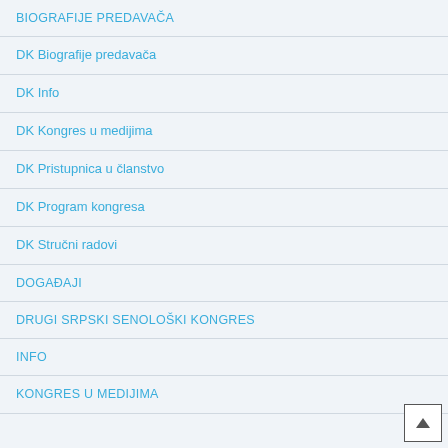BIOGRAFIJE PREDAVAČA
DK Biografije predavača
DK Info
DK Kongres u medijima
DK Pristupnica u članstvo
DK Program kongresa
DK Stručni radovi
DOGAĐAJI
DRUGI SRPSKI SENOLOŠKI KONGRES
INFO
KONGRES U MEDIJIMA